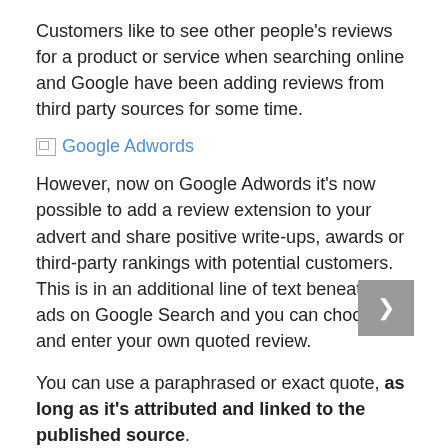Customers like to see other people's reviews for a product or service when searching online and Google have been adding reviews from third party sources for some time.
[Figure (illustration): Broken image placeholder with link text 'Google Adwords' in blue]
However, now on Google Adwords it's now possible to add a review extension to your advert and share positive write-ups, awards or third-party rankings with potential customers. This is in an additional line of text beneath your ads on Google Search and you can choose and enter your own quoted review.
You can use a paraphrased or exact quote, as long as it's attributed and linked to the published source.